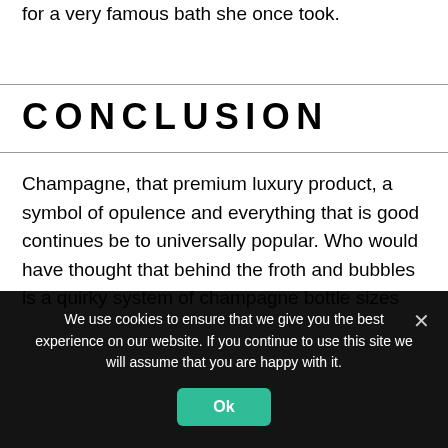for a very famous bath she once took.
CONCLUSION
Champagne, that premium luxury product, a symbol of opulence and everything that is good continues be to universally popular. Who would have thought that behind the froth and bubbles is a quirky system of champagne bottle sizes
We use cookies to ensure that we give you the best experience on our website. If you continue to use this site we will assume that you are happy with it.